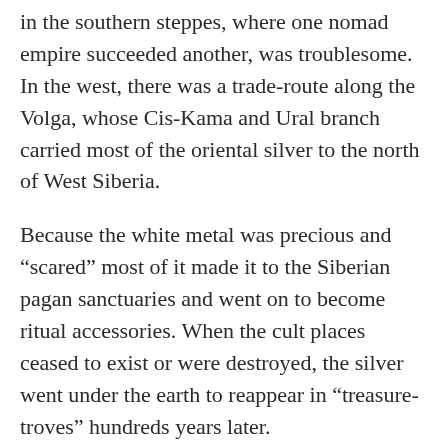in the southern steppes, where one nomad empire succeeded another, was troublesome. In the west, there was a trade-route along the Volga, whose Cis-Kama and Ural branch carried most of the oriental silver to the north of West Siberia.
Because the white metal was precious and “scared” most of it made it to the Siberian pagan sanctuaries and went on to become ritual accessories. When the cult places ceased to exist or were destroyed, the silver went under the earth to reappear in “treasure-troves” hundreds years later.
In the Lower Cis-Ob region, the following things have been found this way: the 6th-century silver dish depicting angels to the sides of a cross; 9th-century East Persian dish depicting a tsar on the throne; 9th-century bottles from Tokharistan and Iran; 9th—11th-century trays from Asia Minor and Khorezm; a hollow head of a monster from 8th-century Sogd; 9th-century Khazar dipper; 8th-century